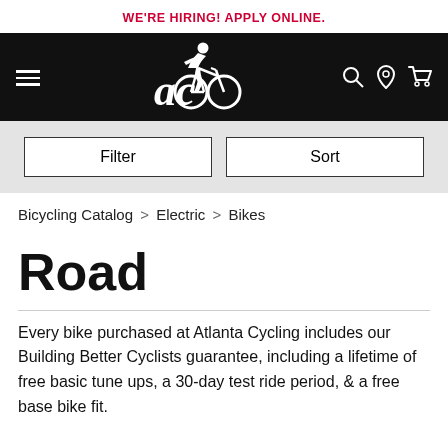WE'RE HIRING! APPLY ONLINE.
[Figure (logo): Atlanta Cycling logo — stylized 'ac' letters with a cyclist silhouette on black background, with hamburger menu on left and search/location/cart icons on right]
[Figure (other): Filter and Sort buttons on a light gray background]
Bicycling Catalog > Electric > Bikes
Road
Every bike purchased at Atlanta Cycling includes our Building Better Cyclists guarantee, including a lifetime of free basic tune ups, a 30-day test ride period, & a free base bike fit.